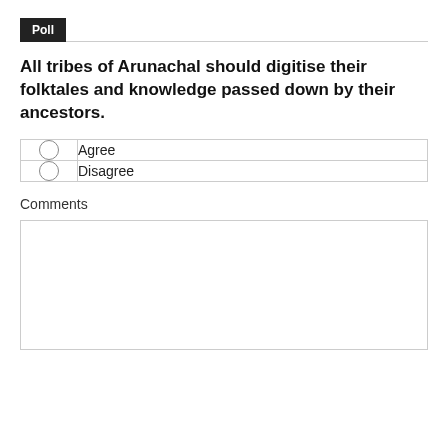Poll
All tribes of Arunachal should digitise their folktales and knowledge passed down by their ancestors.
| Agree |
| Disagree |
Comments
[Figure (other): Empty comments text area box]